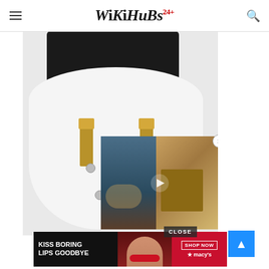WikiHubs24
[Figure (photo): Close-up photo of a UK three-pin electrical plug with black body and brass pins against a white background, with a video player overlay showing an iron and a room scene with a play button]
[Figure (photo): Advertisement banner: Kiss Boring Lips Goodbye - Shop Now - Macy's, featuring a woman with red lipstick]